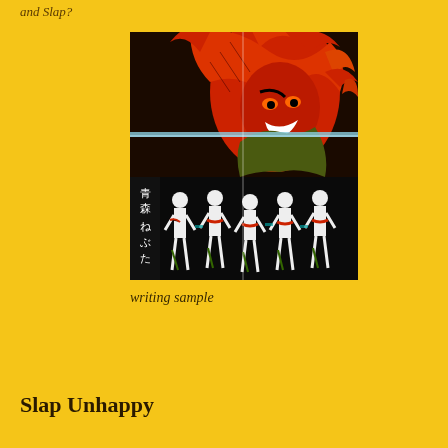and Slap?
[Figure (photo): Japanese Nebuta festival artwork showing a dramatic red demon/warrior figure at the top with menacing expression and flowing robes, and a procession of festival dancers in white costumes below. Japanese text visible on the left side reading 青森ねぶた.]
writing sample
Slap Unhappy